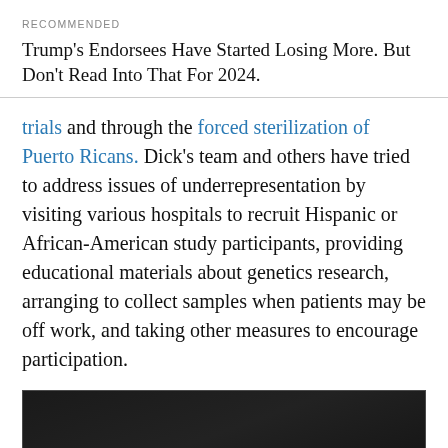RECOMMENDED
Trump's Endorsees Have Started Losing More. But Don't Read Into That For 2024.
trials and through the forced sterilization of Puerto Ricans. Dick's team and others have tried to address issues of underrepresentation by visiting various hospitals to recruit Hispanic or African-American study participants, providing educational materials about genetics research, arranging to collect samples when patients may be off work, and taking other measures to encourage participation.
[Figure (photo): Dark/black image, content not visible]